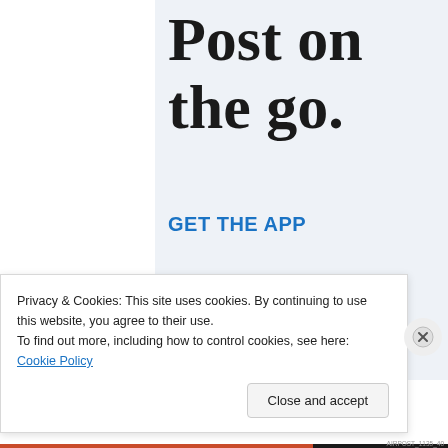Post on the go.
GET THE APP
[Figure (illustration): Partial view of a smartphone/phone illustration in light blue tones at the bottom of a promotional panel]
Privacy & Cookies: This site uses cookies. By continuing to use this website, you agree to their use.
To find out more, including how to control cookies, see here: Cookie Policy
Close and accept
AIRPOST_1135_40